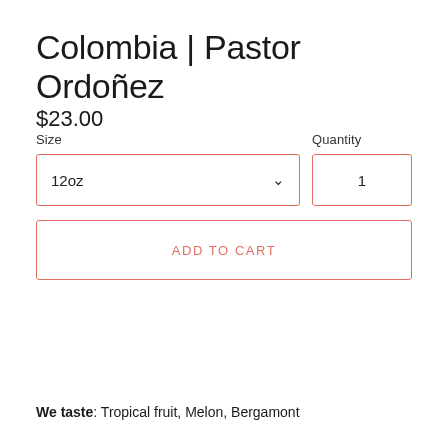Colombia | Pastor Ordoñez
$23.00
Size
Quantity
12oz
1
ADD TO CART
We taste: Tropical fruit, Melon, Bergamont